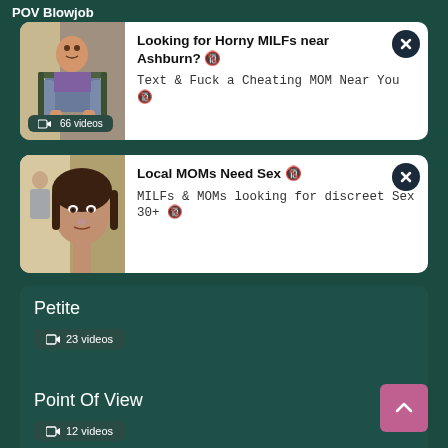POV Blowjob
[Figure (infographic): Ad card 1: Looking for Horny MILFs near Ashburn? Text & Fuck a Cheating MOM Near You]
66 videos
[Figure (infographic): Ad card 2: Local MOMs Need Sex. MILFs & MOMs looking for discreet Sex 30+]
Petite
23 videos
Point Of View
12 videos